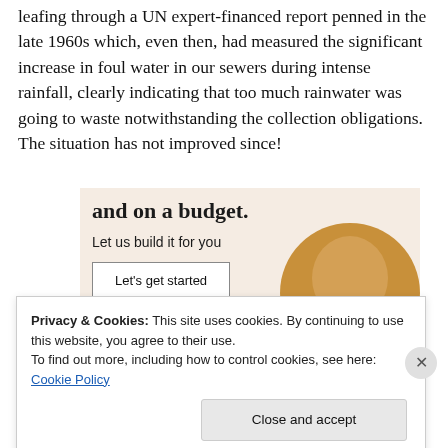leafing through a UN expert-financed report penned in the late 1960s which, even then, had measured the significant increase in foul water in our sewers during intense rainfall, clearly indicating that too much rainwater was going to waste notwithstanding the collection obligations. The situation has not improved since!
[Figure (infographic): Advertisement banner with beige background showing partial bold text 'and on a budget.', subtext 'Let us build it for you', a 'Let's get started' button, and a circular photo of hands working on a device.]
Privacy & Cookies: This site uses cookies. By continuing to use this website, you agree to their use.
To find out more, including how to control cookies, see here: Cookie Policy
Close and accept